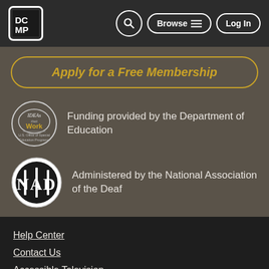[Figure (logo): DCMP logo - black and white square logo with letters DC MP]
[Figure (logo): Search icon button - circle with magnifying glass]
[Figure (logo): Browse button with menu lines icon]
[Figure (logo): Log In button]
Apply for a Free Membership
[Figure (logo): IDEAs that Work - U.S. Office of Special Education Programs logo]
Funding provided by the Department of Education
[Figure (logo): NAD - National Association of the Deaf logo]
Administered by the National Association of the Deaf
Help Center
Contact Us
Accessible Television